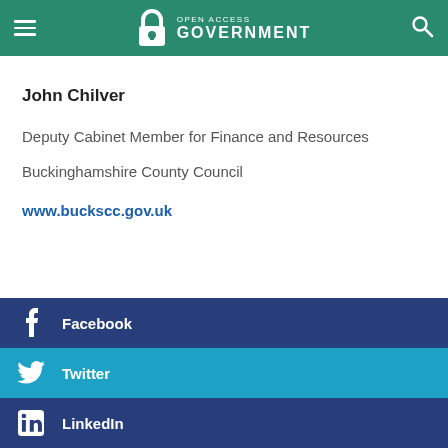Open Access Government
John Chilver
Deputy Cabinet Member for Finance and Resources
Buckinghamshire County Council
www.buckscc.gov.uk
Facebook
Twitter
LinkedIn